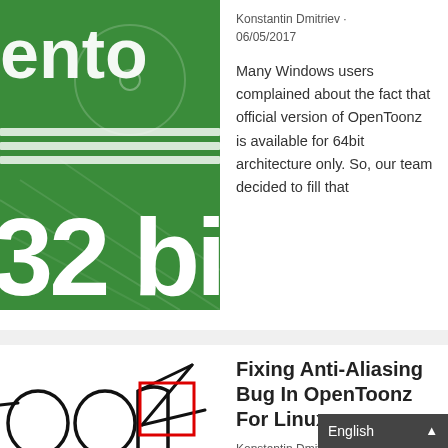[Figure (illustration): Green background with white text showing partial OpenToonz logo, horizontal stripes, and '32 bi' large text]
Konstantin Dmitriev · 06/05/2017
Many Windows users complained about the fact that official version of OpenToonz is available for 64bit architecture only. So, our team decided to fill that
[Figure (illustration): Partial OpenToonz logo showing 'oonz' in hand-drawn style with a red rectangle outline overlay]
Fixing Anti-Aliasing Bug In OpenToonz For Linux
Konstantin Dmitriev
English